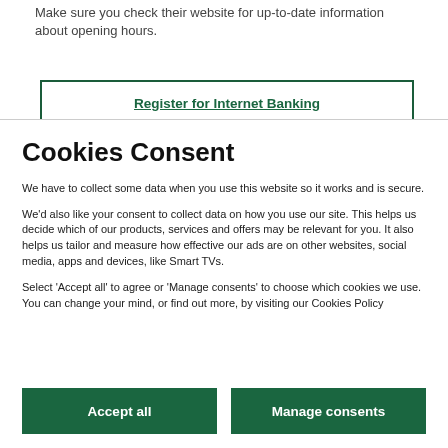Make sure you check their website for up-to-date information about opening hours.
Register for Internet Banking
Cookies Consent
We have to collect some data when you use this website so it works and is secure.
We'd also like your consent to collect data on how you use our site. This helps us decide which of our products, services and offers may be relevant for you. It also helps us tailor and measure how effective our ads are on other websites, social media, apps and devices, like Smart TVs.
Select 'Accept all' to agree or 'Manage consents' to choose which cookies we use. You can change your mind, or find out more, by visiting our Cookies Policy
Accept all
Manage consents